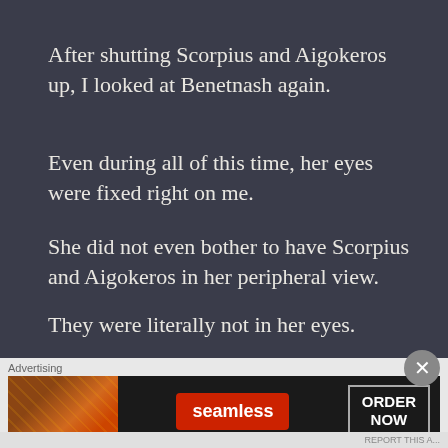After shutting Scorpius and Aigokeros up, I looked at Benetnash again.
Even during all of this time, her eyes were fixed right on me.
She did not even bother to have Scorpius and Aigokeros in her peripheral view.
They were literally not in her eyes.
[Figure (screenshot): Advertisement banner for Seamless food delivery service showing pizza image on left, red Seamless logo button in center, and ORDER NOW button on right, on dark background]